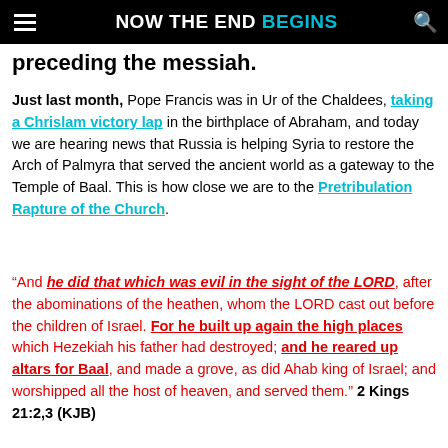NOW THE END BEGINS
preceding the messiah.
Just last month, Pope Francis was in Ur of the Chaldees, taking a Chrislam victory lap in the birthplace of Abraham, and today we are hearing news that Russia is helping Syria to restore the Arch of Palmyra that served the ancient world as a gateway to the Temple of Baal. This is how close we are to the Pretribulation Rapture of the Church.
“And he did that which was evil in the sight of the LORD, after the abominations of the heathen, whom the LORD cast out before the children of Israel. For he built up again the high places which Hezekiah his father had destroyed; and he reared up altars for Baal, and made a grove, as did Ahab king of Israel; and worshipped all the host of heaven, and served them.” 2 Kings 21:2,3 (KJB)